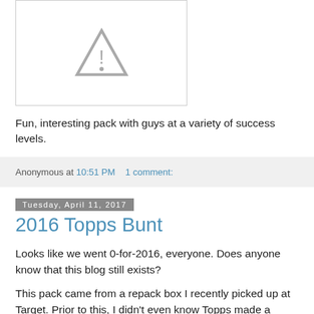[Figure (illustration): A broken image placeholder showing a gray triangle warning icon with an exclamation mark inside, inside a white box with a light gray border.]
Fun, interesting pack with guys at a variety of success levels.
Anonymous at 10:51 PM     1 comment:
Tuesday, April 11, 2017
2016 Topps Bunt
Looks like we went 0-for-2016, everyone. Does anyone know that this blog still exists?
This pack came from a repack box I recently picked up at Target. Prior to this, I didn't even know Topps made a